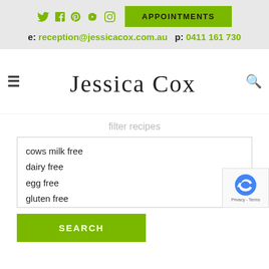Social icons: Twitter, Facebook, Pinterest, YouTube, Instagram | APPOINTMENTS button
e: reception@jessicacox.com.au   p: 0411 161 730
[Figure (logo): Jessica Cox cursive logo with hamburger menu icon on left and search icon on right]
filter recipes
cows milk free
dairy free
egg free
gluten free
SEARCH